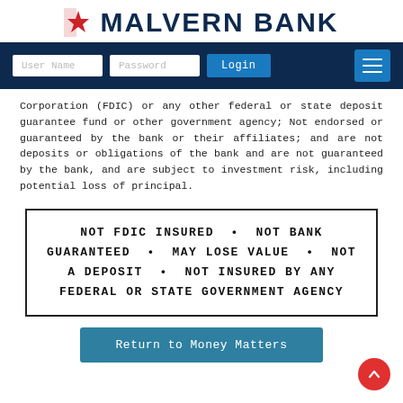MALVERN BANK
[Figure (screenshot): Navigation bar with User Name and Password input fields, Login button, and hamburger menu button on dark navy background]
Corporation (FDIC) or any other federal or state deposit guarantee fund or other government agency; Not endorsed or guaranteed by the bank or their affiliates; and are not deposits or obligations of the bank and are not guaranteed by the bank, and are subject to investment risk, including potential loss of principal.
NOT FDIC INSURED • NOT BANK GUARANTEED • MAY LOSE VALUE • NOT A DEPOSIT • NOT INSURED BY ANY FEDERAL OR STATE GOVERNMENT AGENCY
Return to Money Matters